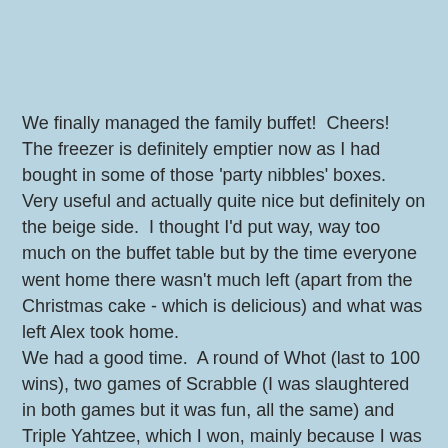We finally managed the family buffet!  Cheers!  The freezer is definitely emptier now as I had bought in some of those 'party nibbles' boxes.  Very useful and actually quite nice but definitely on the beige side.  I thought I'd put way, way too much on the buffet table but by the time everyone went home there wasn't much left (apart from the Christmas cake - which is delicious) and what was left Alex took home. We had a good time.  A round of Whot (last to 100 wins), two games of Scrabble (I was slaughtered in both games but it was fun, all the same) and Triple Yahtzee, which I won, mainly because I was lucky enough to get my three Yahtzees. I'm definitely feeling muggy headed and lethargic this morning but Lindsey will wake me up, I am sure.
Today is an at home day with nothing in the diary but Festive Blast. However, I would like to :